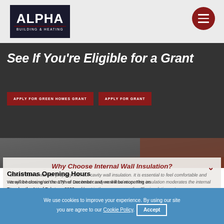ALPHA BUILDING & HEATING — navigation bar with logo and menu button
See If You're Eligible for a Grant
APPLY FOR GREEN HOMES GRANT
APPLY FOR GRANT
[Figure (photo): Photo of roof tiles and brick wall — building exterior]
Why Choose Internal Wall Insulation?
Benefit from a warmer property with our cavity wall insulation. It is essential to feel comfortable and cosy at home, which is why we use bead cavity wall insulation. This insulation moderates the internal temperature to prevent an excess of heat in the summer months. The insulation acts as...
Christmas Opening Hours
We will be closing on the 17th of December and we will be reopening on Tuesday the 1st of February 2022.
We use cookies to improve your experience. By using our site you are agree to our Cookie Policy. Accept